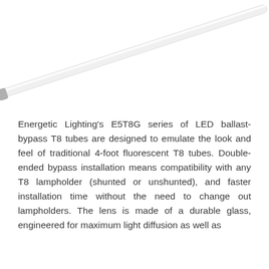[Figure (photo): A long, thin LED T8 fluorescent tube lamp shown diagonally, white frosted glass tube with a metallic end cap visible at the lower left end, on a white background.]
Energetic Lighting's E5T8G series of LED ballast-bypass T8 tubes are designed to emulate the look and feel of traditional 4-foot fluorescent T8 tubes. Double-ended bypass installation means compatibility with any T8 lampholder (shunted or unshunted), and faster installation time without the need to change out lampholders. The lens is made of a durable glass, engineered for maximum light diffusion as well as